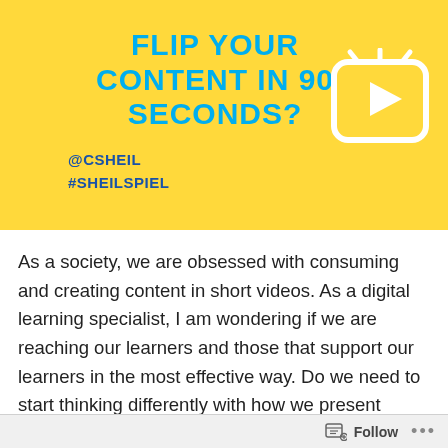[Figure (other): Yellow banner background with a video play button icon (rounded square with play triangle) in white on the right side]
FLIP YOUR CONTENT IN 90 SECONDS?
@CSHEIL
#SHEILSPIEL
As a society, we are obsessed with consuming and creating content in short videos. As a digital learning specialist, I am wondering if we are reaching our learners and those that support our learners in the most effective way. Do we need to start thinking differently with how we present information? How can we do this in a safe manner that is efficient?
Follow ...